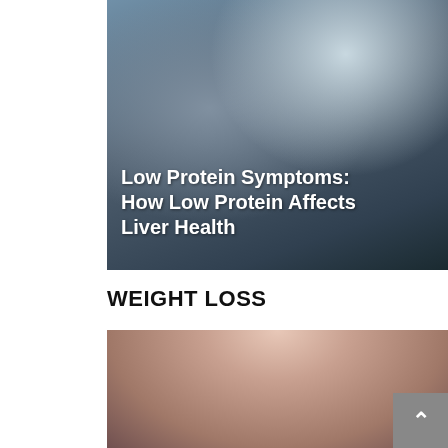[Figure (photo): Medical image showing a doctor examining a patient's wrist/hand, with overlaid white bold text reading 'Low Protein Symptoms: How Low Protein Affects Liver Health']
Low Protein Symptoms: How Low Protein Affects Liver Health
WEIGHT LOSS
[Figure (photo): Close-up photo of a woman's neck and lower face, wearing a white coat with red accent, suggesting a medical professional or patient]